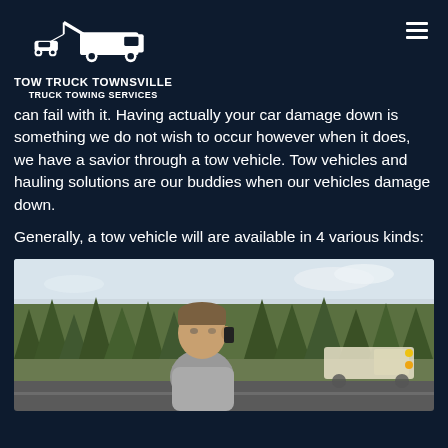TOW TRUCK TOWNSVILLE TRUCK TOWING SERVICES
can fail with it. Having actually your car damage down is something we do not wish to occur however when it does, we have a savior through a tow vehicle. Tow vehicles and hauling solutions are our buddies when our vehicles damage down.
Generally, a tow vehicle will are available in 4 various kinds:
[Figure (photo): Man standing outdoors on a road, talking on a phone, with trees and sky in the background. A tow truck is partially visible in the background.]